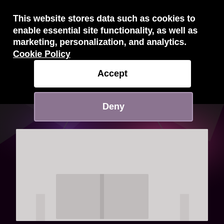This website stores data such as cookies to enable essential site functionality, as well as marketing, personalization, and analytics. Cookie Policy
[Figure (screenshot): Accept button — white rounded rectangle with bold black text 'Accept']
[Figure (screenshot): Deny button — muted purple/mauve rounded rectangle with bold white text 'Deny']
[Figure (photo): Background photo showing a dark stage or event venue with purple/pink bokeh lighting and a light grey placeholder rectangle (book cover placeholder) in the lower portion of the image]